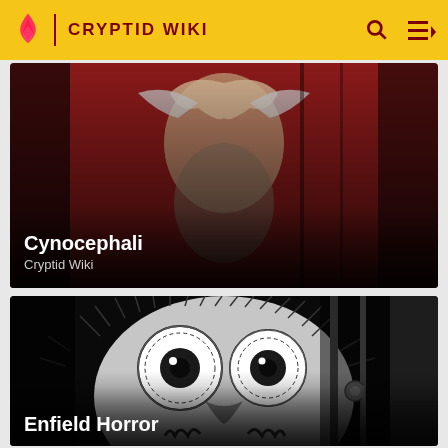CRYPTID WIKI
[Figure (screenshot): Illustration of Cynocephali - a medieval-style painting showing dog-headed humanoid figures on a red background]
Cynocephali
Cryptid Wiki
[Figure (illustration): Black and white illustration of the Enfield Horror - a creature with huge round eyes peering through a doorway]
Enfield Horror